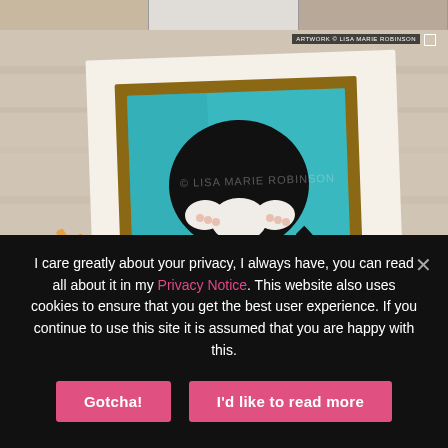[Figure (photo): Top strip showing three small thumbnail images of artwork/food items on plates, partially visible at the top of the page.]
[Figure (photo): Large photograph of a painted artwork by Lisa Marie Robinson showing a black and white tuxedo cat lying on its back in a window frame with teal background, with painting brushes and mail/envelopes visible around the artwork card on a wooden background. Watermark text 'ARTWORK © LISA MARIE ROBINSON' overlaid.]
I care greatly about your privacy, I always have, you can read all about it in my Privacy Notice. This website also uses cookies to ensure that you get the best user experience. If you continue to use this site it is assumed that you are happy with this.
Gotcha!
I'd like to read more